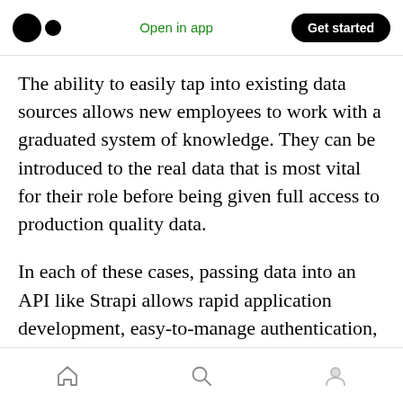Open in app | Get started
The ability to easily tap into existing data sources allows new employees to work with a graduated system of knowledge. They can be introduced to the real data that is most vital for their role before being given full access to production quality data.
In each of these cases, passing data into an API like Strapi allows rapid application development, easy-to-manage authentication, simple and reusable configuration, and no backend maintenance. It's simple and fast to iterate with a
Home | Search | Profile